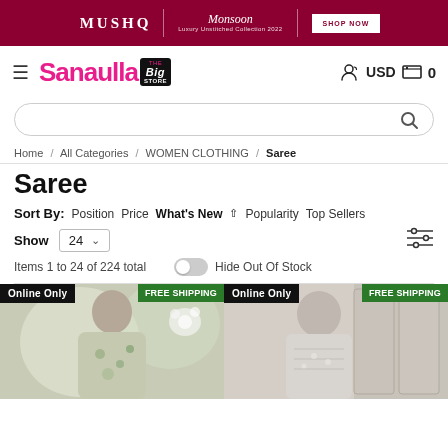MUSHQ | Monsoon Luxury Unstitched Collection 2022 | SHOP NOW
[Figure (screenshot): Sanaulla Big Store logo with hamburger menu, USD currency and cart icon]
[Figure (screenshot): Search bar with magnifying glass icon]
Home / All Categories / WOMEN CLOTHING / Saree
Saree
Sort By: Position  Price  What's New ↑  Popularity  Top Sellers
Show 24 ∨  [filter icon]  Items 1 to 24 of 224 total  [toggle] Hide Out Of Stock
[Figure (photo): Woman wearing a floral/embroidered saree, Online Only badge, FREE SHIPPING badge]
[Figure (photo): Woman wearing a cream/white embroidered saree, Online Only badge, FREE SHIPPING badge]